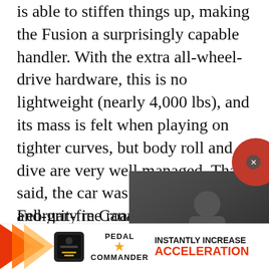is able to stiffen things up, making the Fusion a surprisingly capable handler. With the extra all-wheel-drive hardware, this is no lightweight (nearly 4,000 lbs), and its mass is felt when playing on tighter curves, but body roll and dive are very well managed. That said, the car was tested during February in Canada and wore Pirelli Sottozero winter tires, so one can only assume it'll be even more engaging on ice-and-grit-free roads and... so squishy.
[Figure (screenshot): Embedded video player overlay showing a man in front of cars, with a play button, close button, and caption text about the Kia Niro]
The Sport's steering is...
[Figure (infographic): Advertisement banner for Pedal Commander showing orange arrows, a black device, PEDAL COMMANDER logo with star, and text INSTANTLY INCREASE ACCELERATION]